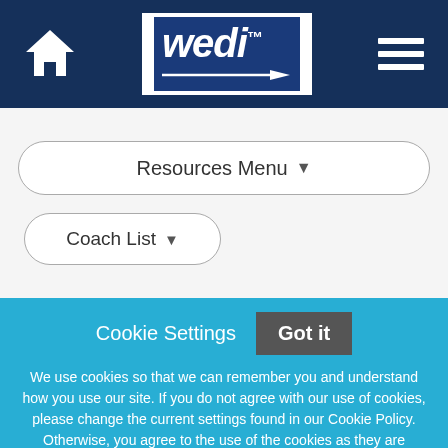[Figure (screenshot): WEDI website header with home icon, WEDI logo, and hamburger menu on dark navy background]
Resources Menu ▾
Coach List ▾
Cookie Settings   Got it
We use cookies so that we can remember you and understand how you use our site. If you do not agree with our use of cookies, please change the current settings found in our Cookie Policy. Otherwise, you agree to the use of the cookies as they are currently set.